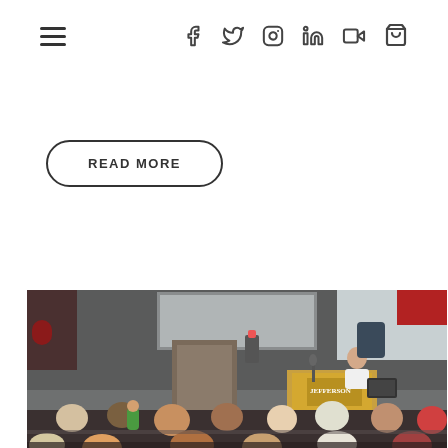Navigation header with hamburger menu and social media icons (Facebook, Twitter, Instagram, LinkedIn, YouTube, shopping bag)
READ MORE
[Figure (photo): Lecture hall scene at Jefferson Community College. A female presenter stands at a podium labeled 'Jefferson' with a projection screen behind her. An audience of students/attendees is seated in tiered rows facing the front.]